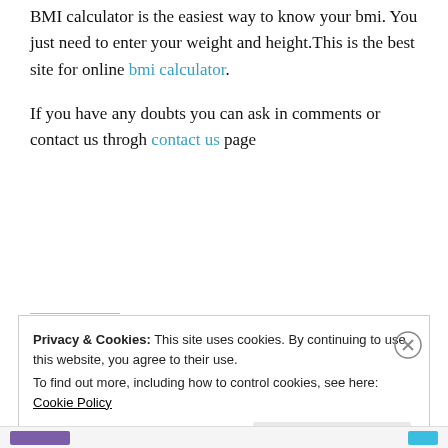BMI calculator is the easiest way to know your bmi. You just need to enter your weight and height.This is the best site for online bmi calculator.
If you have any doubts you can ask in comments or contact us throgh contact us page
Privacy & Cookies: This site uses cookies. By continuing to use this website, you agree to their use. To find out more, including how to control cookies, see here: Cookie Policy